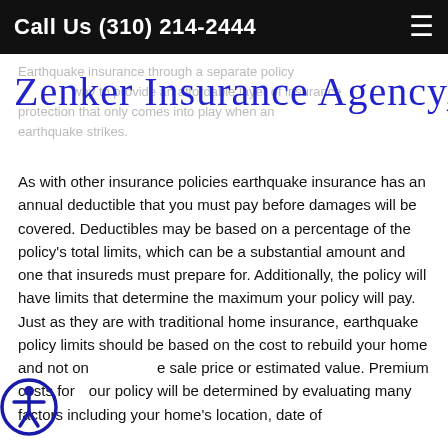Call Us (310) 214-2444
[Figure (logo): Zenker Insurance Agency, LLC handwritten-style logo in dark blue script, overlaid on faded gray background text about earthquake insurance through a separate policy]
As with other insurance policies earthquake insurance has an annual deductible that you must pay before damages will be covered. Deductibles may be based on a percentage of the policy’s total limits, which can be a substantial amount and one that insureds must prepare for. Additionally, the policy will have limits that determine the maximum your policy will pay. Just as they are with traditional home insurance, earthquake policy limits should be based on the cost to rebuild your home and not on the sale price or estimated value. Premium costs for your policy will be determined by evaluating many factors including your home’s location, date of